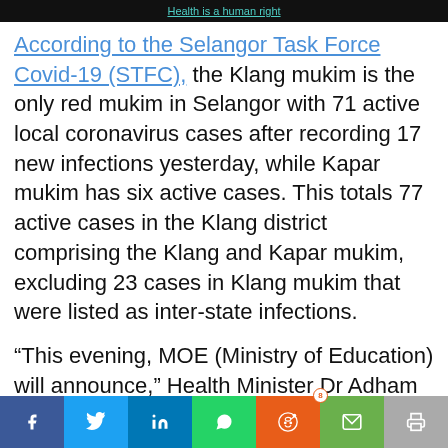Health is a human right
According to the Selangor Task Force Covid-19 (STFC), the Klang mukim is the only red mukim in Selangor with 71 active local coronavirus cases after recording 17 new infections yesterday, while Kapar mukim has six active cases. This totals 77 active cases in the Klang district comprising the Klang and Kapar mukim, excluding 23 cases in Klang mukim that were listed as inter-state infections.
“This evening, MOE (Ministry of Education) will announce,” Health Minister Dr Adham Baba told CodeBlue.
Social share bar: Facebook, Twitter, LinkedIn, WhatsApp, Reddit (8), Email, Print